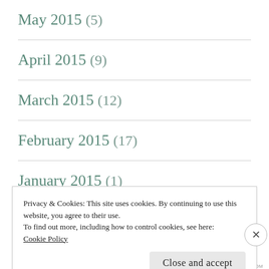May 2015 (5)
April 2015 (9)
March 2015 (12)
February 2015 (17)
January 2015 (1)
December 2014 (5)
Privacy & Cookies: This site uses cookies. By continuing to use this website, you agree to their use.
To find out more, including how to control cookies, see here: Cookie Policy
Close and accept